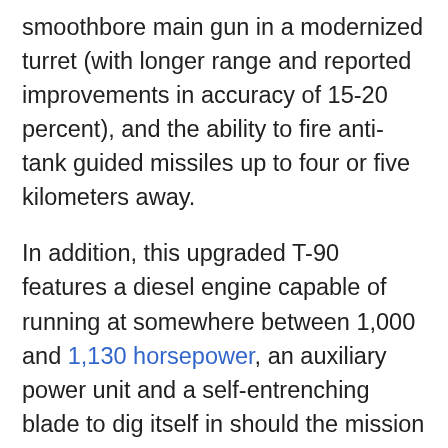smoothbore main gun in a modernized turret (with longer range and reported improvements in accuracy of 15-20 percent), and the ability to fire anti-tank guided missiles up to four or five kilometers away.
In addition, this upgraded T-90 features a diesel engine capable of running at somewhere between 1,000 and 1,130 horsepower, an auxiliary power unit and a self-entrenching blade to dig itself in should the mission require it.
In short, the T-90M was supposed to